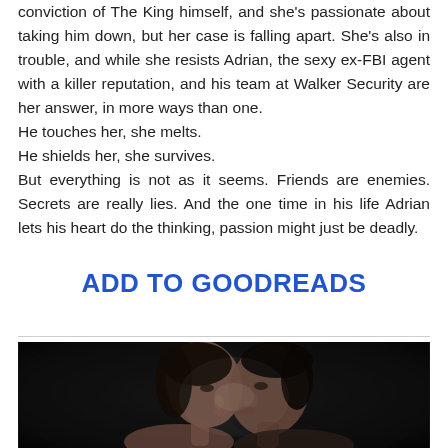conviction of The King himself, and she's passionate about taking him down, but her case is falling apart. She's also in trouble, and while she resists Adrian, the sexy ex-FBI agent with a killer reputation, and his team at Walker Security are her answer, in more ways than one.
He touches her, she melts.
He shields her, she survives.
But everything is not as it seems. Friends are enemies. Secrets are really lies. And the one time in his life Adrian lets his heart do the thinking, passion might just be deadly.
ADD TO GOODREADS
[Figure (photo): Black and white photo of a couple (man and woman) in an intimate pose, faces close together as if about to kiss, against a dark background.]